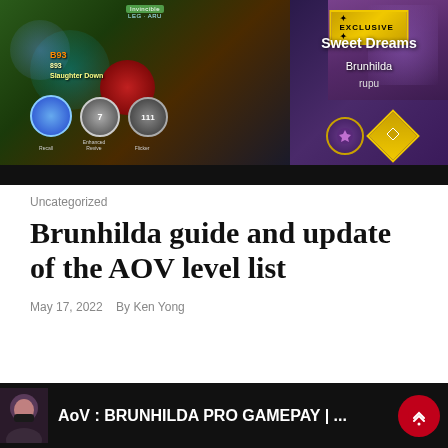[Figure (screenshot): Mobile game screenshot split into two panels: left shows gameplay of a character (likely Brunhilda) in Arena of Valor with HUD elements including ability icons (Recall, Enhanced, Flicker), health bars, and game text '893' and 'Slaughter Down'; right panel shows an EXCLUSIVE skin called 'Sweet Dreams' for Brunhilda character 'rupu' against a purple background with gold border, character icons and diamond icon at bottom.]
Uncategorized
Brunhilda guide and update of the AOV level list
May 17, 2022   By Ken Yong
[Figure (screenshot): Video thumbnail with dark background, avatar of a person on left, bold white text reading 'AoV : BRUNHILDA PRO GAMEPAY | ...' and a red circular play button on the right.]